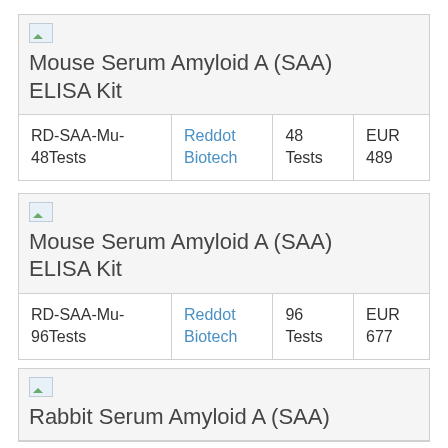Mouse Serum Amyloid A (SAA) ELISA Kit
| RD-SAA-Mu-48Tests | Reddot Biotech | 48 Tests | EUR 489 |
Mouse Serum Amyloid A (SAA) ELISA Kit
| RD-SAA-Mu-96Tests | Reddot Biotech | 96 Tests | EUR 677 |
Rabbit Serum Amyloid A (SAA)